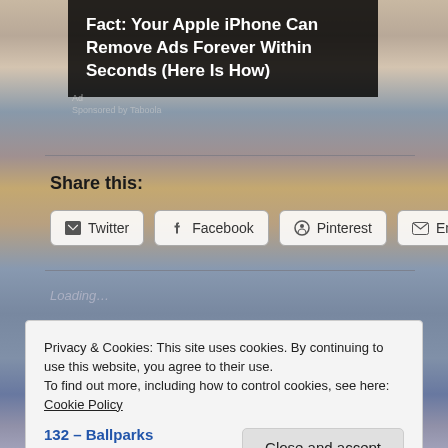[Figure (screenshot): Background image of a beach/ocean sunset scene with warm and cool tones, heron visible on left side]
Fact: Your Apple iPhone Can Remove Ads Forever Within Seconds (Here Is How)
Ad
Sponsored by Taboola or similar
Share this:
Twitter
Facebook
Pinterest
Email
Loading...
Privacy & Cookies: This site uses cookies. By continuing to use this website, you agree to their use.
To find out more, including how to control cookies, see here: Cookie Policy
Close and accept
132 – Ballparks